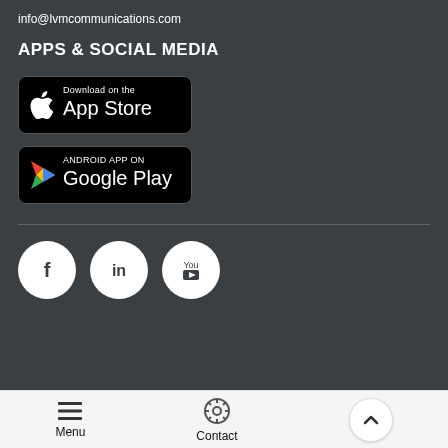info@lvmcommunications.com
APPS & SOCIAL MEDIA
[Figure (logo): Download on the App Store badge (black background, Apple logo, white text)]
[Figure (logo): ANDROID APP ON Google Play badge (black background, Play triangle logo, white text)]
[Figure (infographic): Social media icons: Facebook (f), LinkedIn (in), YouTube (You Tube) as white circular buttons]
Menu | Contact